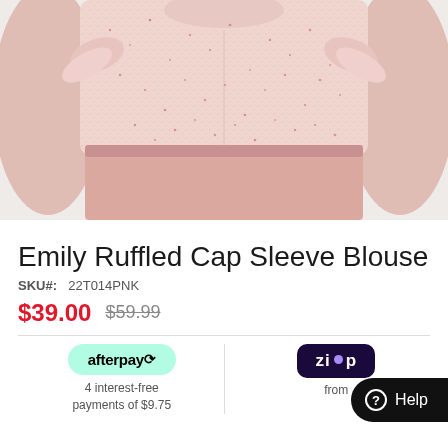[Figure (photo): Product photo of Emily Ruffled Cap Sleeve Blouse in pink, showing torso of a person wearing a pink speckled knit blouse with ruffled cap sleeves and a pink skirt, against a light background.]
Emily Ruffled Cap Sleeve Blouse
SKU#: 22T014PNK
$39.00  $59.99
[Figure (logo): Afterpay logo badge (mint green rounded rectangle) and Zip logo badge (dark purple rounded rectangle), payment option logos with text '4 interest-free payments of $9.75' and 'from']
4 interest-free payments of $9.75
from